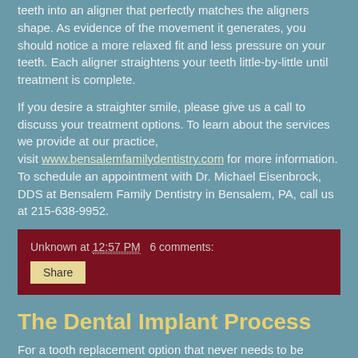teeth into an aligner that perfectly matches the aligners shape. As evidence of the movement it generates, you should notice a more relaxed fit and less pressure on your teeth. Each aligner straightens your teeth little-by-little until treatment is complete.
If you desire a straighter smile, please give us a call to discuss your treatment options. To learn about the services we provide at our practice, visit www.bensalemfamilydentistry.com for more information. To schedule an appointment with Dr. Michael Eisenbrock, DDS at Bensalem Family Dentistry in Bensalem, PA, call us at 215-638-9952.
Unknown at 12:57 PM   6 comments:
Share
The Dental Implant Process
For a tooth replacement option that never needs to be